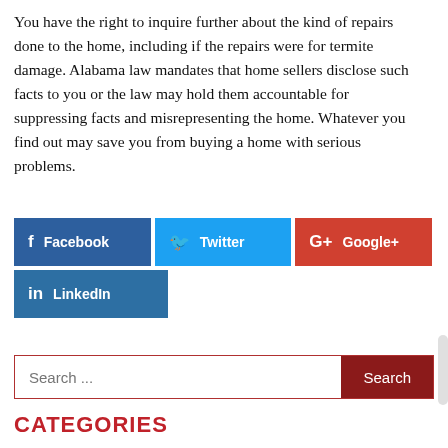You have the right to inquire further about the kind of repairs done to the home, including if the repairs were for termite damage. Alabama law mandates that home sellers disclose such facts to you or the law may hold them accountable for suppressing facts and misrepresenting the home. Whatever you find out may save you from buying a home with serious problems.
[Figure (infographic): Social media sharing buttons: Facebook (dark blue), Twitter (light blue), Google+ (red), LinkedIn (dark blue)]
Search ...
CATEGORIES